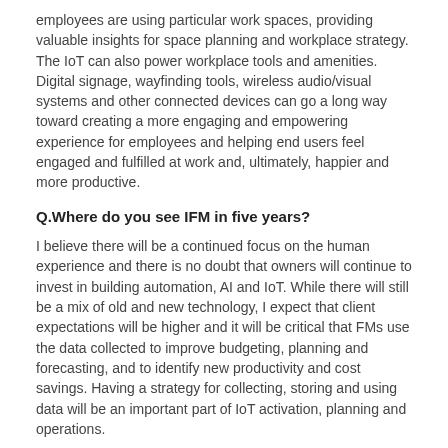employees are using particular work spaces, providing valuable insights for space planning and workplace strategy. The IoT can also power workplace tools and amenities. Digital signage, wayfinding tools, wireless audio/visual systems and other connected devices can go a long way toward creating a more engaging and empowering experience for employees and helping end users feel engaged and fulfilled at work and, ultimately, happier and more productive.
Q.Where do you see IFM in five years?
I believe there will be a continued focus on the human experience and there is no doubt that owners will continue to invest in building automation, AI and IoT. While there will still be a mix of old and new technology, I expect that client expectations will be higher and it will be critical that FMs use the data collected to improve budgeting, planning and forecasting, and to identify new productivity and cost savings. Having a strategy for collecting, storing and using data will be an important part of IoT activation, planning and operations.